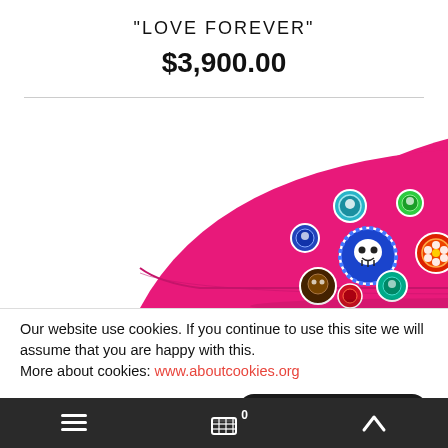"LOVE FOREVER"
$3,900.00
[Figure (photo): A bright pink/magenta baseball cap viewed from the side, decorated with multiple circular embroidered badges featuring skulls, flowers, and other designs in various colors including blue, teal, red, and green.]
Our website use cookies. If you continue to use this site we will assume that you are happy with this.
More about cookies: www.aboutcookies.org
≡  🛒 0  ∧